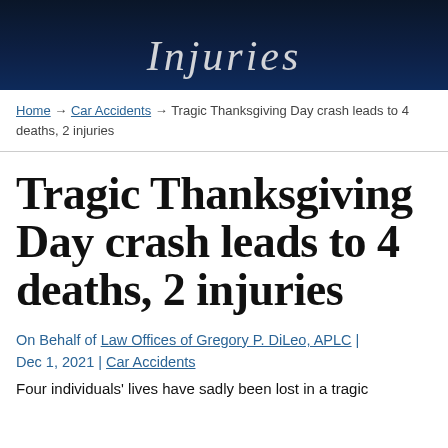[Figure (photo): Dark blue banner header with the word 'Injuries' in italic serif font, overlaid on a nighttime cityscape background]
Home → Car Accidents → Tragic Thanksgiving Day crash leads to 4 deaths, 2 injuries
Tragic Thanksgiving Day crash leads to 4 deaths, 2 injuries
On Behalf of Law Offices of Gregory P. DiLeo, APLC | Dec 1, 2021 | Car Accidents
Four individuals' lives have sadly been lost in a tragic